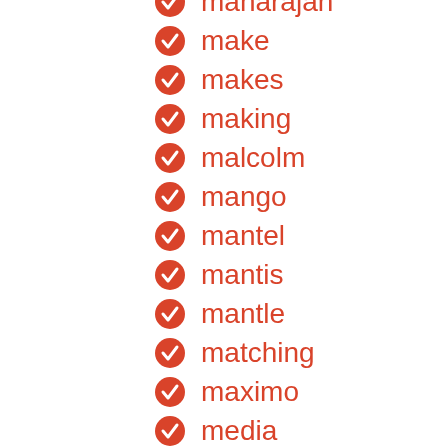maharajan
make
makes
making
malcolm
mango
mantel
mantis
mantle
matching
maximo
media
medium
metal
mexican
miami
mid-century
milano
minute
mirrored